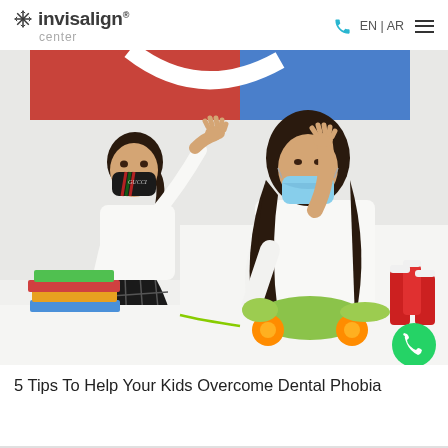invisalign center — EN | AR
[Figure (photo): A young girl wearing a black Gucci face mask giving a high-five to a woman with long dark hair wearing a blue medical face mask and white outfit, both seated in a dental/medical office. Colorful books and a wooden toy are on a white table in the foreground. Red and white bottles visible on right side.]
5 Tips To Help Your Kids Overcome Dental Phobia